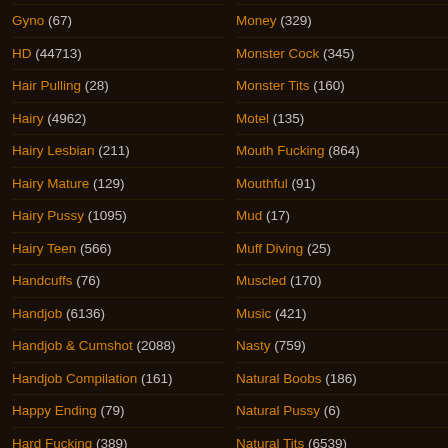Gyno (67)
HD (44713)
Hair Pulling (28)
Hairy (4962)
Hairy Lesbian (211)
Hairy Mature (129)
Hairy Pussy (1095)
Hairy Teen (566)
Handcuffs (76)
Handjob (6136)
Handjob & Cumshot (2088)
Handjob Compilation (161)
Happy Ending (79)
Hard Fucking (389)
Hardbodied (1)
Money (329)
Monster Cock (345)
Monster Tits (160)
Motel (135)
Mouth Fucking (864)
Mouthful (91)
Mud (17)
Muff Diving (25)
Muscled (170)
Music (421)
Nasty (759)
Natural Boobs (186)
Natural Pussy (6)
Natural Tits (6539)
Nature (75)